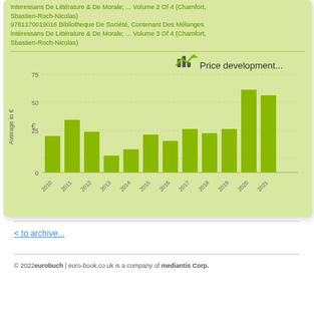Interessans De Littérature & De Morale; ... Volume 2 Of 4 (Chamfort, Sbastien-Roch-Nicolas)
9781170019016 Bibliotheque De Société, Contenant Des Mélanges Intéressans De Littérature & De Morale; ... Volume 3 Of 4 (Chamfort, Sbastien-Roch-Nicolas)
[Figure (bar-chart): Price development...]
< to archive...
© 2022eurobuch | euro-book.co.uk is a company of mediantis Corp.